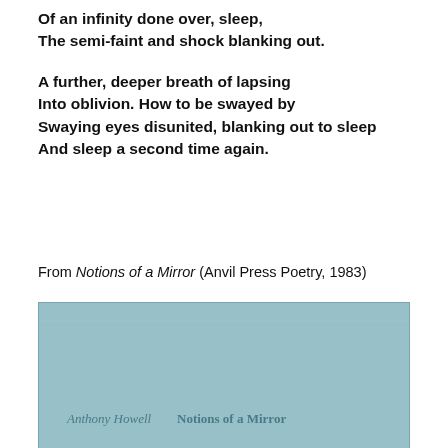Of an infinity done over, sleep,
The semi-faint and shock blanking out.

A further, deeper breath of lapsing
Into oblivion. How to be swayed by
Swaying eyes disunited, blanking out to sleep
And sleep a second time again.
From Notions of a Mirror (Anvil Press Poetry, 1983)
[Figure (photo): Book cover of 'Notions of a Mirror' by Anthony Howell, Anvil Press Poetry. A teal/blue-grey cover showing the text 'Anthony Howell Notions of a Mirror'.]